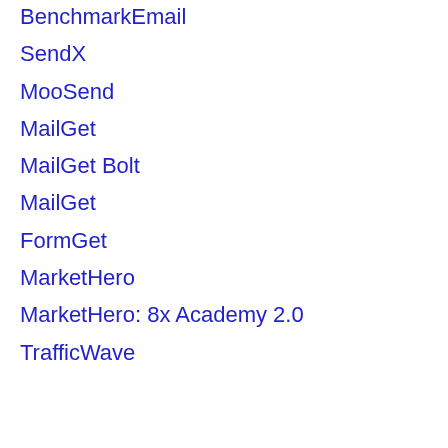BenchmarkEmail
SendX
MooSend
MailGet
MailGet Bolt
MailGet
FormGet
MarketHero
MarketHero: 8x Academy 2.0
TrafficWave